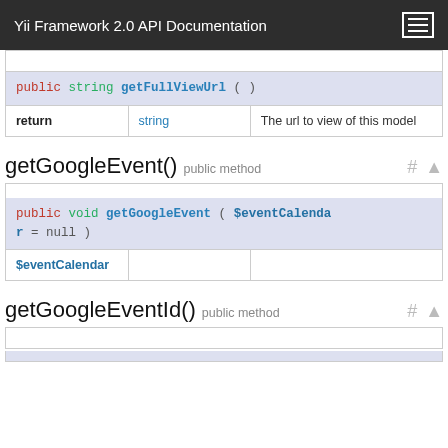Yii Framework 2.0 API Documentation
|  |  |  |
| --- | --- | --- |
| public string getFullViewUrl ( ) |  |  |
| return | string | The url to view of this model |
getGoogleEvent() public method
|  |  |  |
| --- | --- | --- |
| public void getGoogleEvent ( $eventCalendar = null ) |  |  |
| $eventCalendar |  |  |
getGoogleEventId() public method